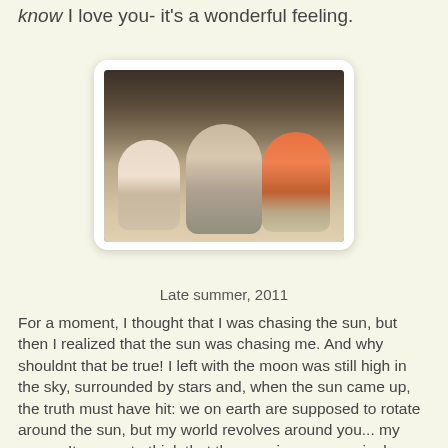know I love you- it's a wonderful feeling.
[Figure (photo): A woman lying on the floor with two toddlers smiling at the camera, taken indoors in late summer 2011.]
Late summer, 2011
For a moment, I thought that I was chasing the sun, but then I realized that the sun was chasing me.  And why shouldnt that be true!  I left with the moon was still high in the sky, surrounded by stars and, when the sun came up, the truth must have hit: we on earth are supposed to rotate around the sun, but my world revolves around you... my suns...  It serves to think that the morning sun was jealous, especially on your birthday, when your light is brightest.
I love you, my sweets... My Robert Benjamin and my Maya Eirene.  I love you with every breath that I take and with every beat of my heart.  With each song that you sing, with each laugh that you share, with each step that you proudly...